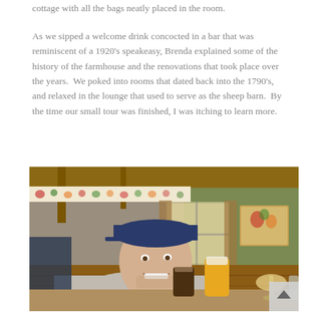cottage with all the bags neatly placed in the room.
As we sipped a welcome drink concocted in a bar that was reminiscent of a 1920's speakeasy, Brenda explained some of the history of the farmhouse and the renovations that took place over the years.  We poked into rooms that dated back into the 1790's, and relaxed in the lounge that used to serve as the sheep barn.  By the time our small tour was finished, I was itching to learn more.
[Figure (photo): A smiling man wearing a dark blue baseball cap and grey t-shirt sits at a wooden table in a rustic bar/lounge interior. He is holding a drink. On the table are glasses of beer and wine. The background shows wood-paneled walls, floral wallpaper border, curtained windows, and a painting of fruit/harvest on a green wall.]